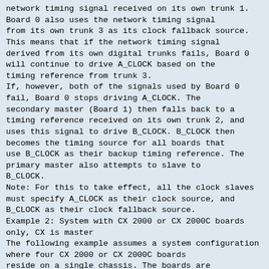network timing signal received on its own trunk 1. Board 0 also uses the network timing signal from its own trunk 3 as its clock fallback source. This means that if the network timing signal derived from its own digital trunks fails, Board 0 will continue to drive A_CLOCK based on the timing reference from trunk 3.
If, however, both of the signals used by Board 0 fail, Board 0 stops driving A_CLOCK. The secondary master (Board 1) then falls back to a timing reference received on its own trunk 2, and uses this signal to drive B_CLOCK. B_CLOCK then becomes the timing source for all boards that use B_CLOCK as their backup timing reference. The primary master also attempts to slave to B_CLOCK.
Note: For this to take effect, all the clock slaves must specify A_CLOCK as their clock source, and B_CLOCK as their clock fallback source.
Example 2: System with CX 2000 or CX 2000C boards only, CX is master
The following example assumes a system configuration where four CX 2000 or CX 2000C boards reside on a single chassis. The boards are configured in the following way:
Board
Configuration
Board 0
Primary clock master. Drives A_CLOCK, based on signal from internal oscillator. Auto-fallback disabled.
Board 1
Secondary clock master. Drives B_CLOCK, based on